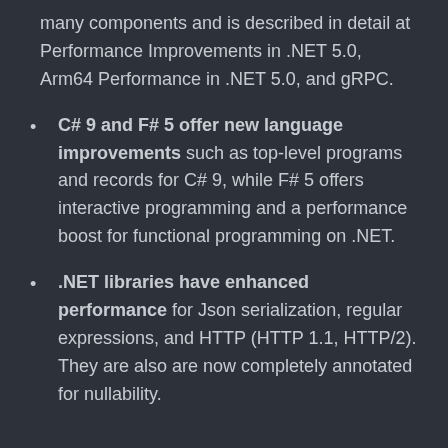many components and is described in detail at Performance Improvements in .NET 5.0, Arm64 Performance in .NET 5.0, and gRPC.
C# 9 and F# 5 offer new language improvements such as top-level programs and records for C# 9, while F# 5 offers interactive programming and a performance boost for functional programming on .NET.
.NET libraries have enhanced performance for Json serialization, regular expressions, and HTTP (HTTP 1.1, HTTP/2). They are also are now completely annotated for nullability.